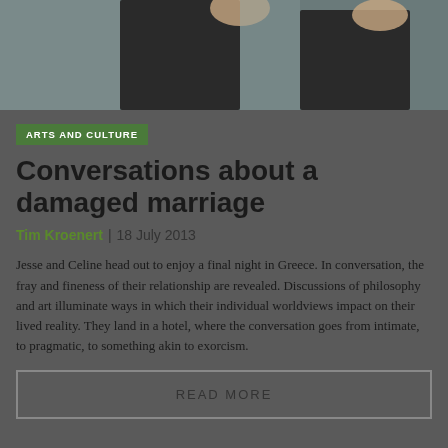[Figure (photo): Cropped photo showing two figures from chest/shoulder level, dark clothing, light background — appears to be a couple, partially visible]
ARTS AND CULTURE
Conversations about a damaged marriage
Tim Kroenert | 18 July 2013
Jesse and Celine head out to enjoy a final night in Greece. In conversation, the fray and fineness of their relationship are revealed. Discussions of philosophy and art illuminate ways in which their individual worldviews impact on their lived reality. They land in a hotel, where the conversation goes from intimate, to pragmatic, to something akin to exorcism.
READ MORE